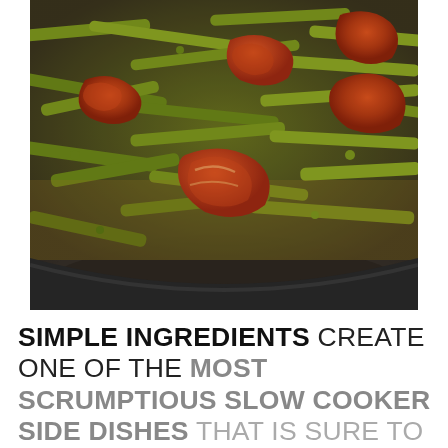[Figure (photo): Close-up photo of green beans and bacon pieces in a dark slow cooker/crockpot. The green beans are cooked and olive-green in color, mixed with chunks of crispy, browned bacon.]
SIMPLE INGREDIENTS CREATE ONE OF THE MOST SCRUMPTIOUS SLOW COOKER SIDE DISHES THAT IS SURE TO PLEASE YOUR FAMILY